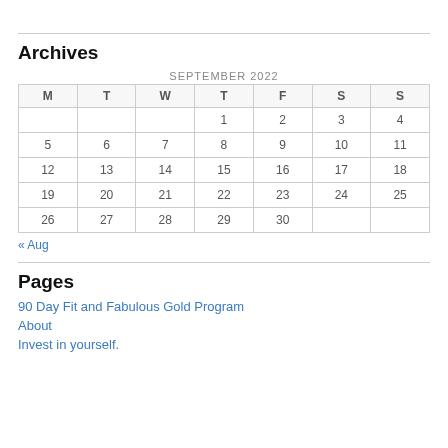Archives
| M | T | W | T | F | S | S |
| --- | --- | --- | --- | --- | --- | --- |
|  |  |  | 1 | 2 | 3 | 4 |
| 5 | 6 | 7 | 8 | 9 | 10 | 11 |
| 12 | 13 | 14 | 15 | 16 | 17 | 18 |
| 19 | 20 | 21 | 22 | 23 | 24 | 25 |
| 26 | 27 | 28 | 29 | 30 |  |  |
« Aug
Pages
90 Day Fit and Fabulous Gold Program
About
Invest in yourself.